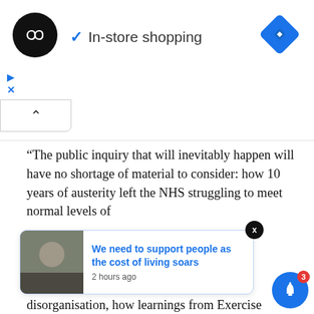[Figure (screenshot): Ad banner with circular black logo with infinity-like symbol, checkmark and 'In-store shopping' text, blue diamond navigation icon top right, play and X icons, collapse button with caret]
“The public inquiry that will inevitably happen will have no shortage of material to consider: how 10 years of austerity left the NHS struggling to meet normal levels of
[Figure (screenshot): Notification card overlay with man photo and blue text 'We need to support people as the cost of living soars', '2 hours ago', with X dismiss button and blue bell icon with badge 3]
ow chronic Care Act 2012 has in essence contributed to dangerous delays and disorganisation, how learnings from Exercise Cygnus